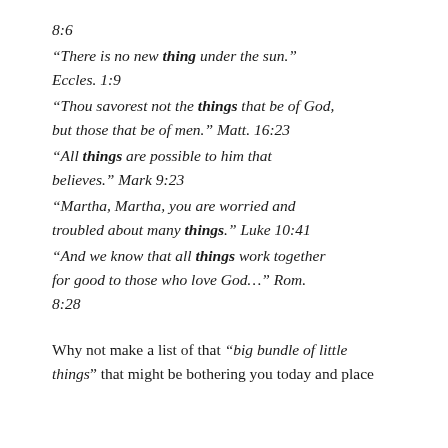8:6
“There is no new thing under the sun.” Eccles. 1:9
“Thou savorest not the things that be of God, but those that be of men.” Matt. 16:23
“All things are possible to him that believes.” Mark 9:23
“Martha, Martha, you are worried and troubled about many things.” Luke 10:41
“And we know that all things work together for good to those who love God…” Rom. 8:28
Why not make a list of that “big bundle of little things” that might be bothering you today and place